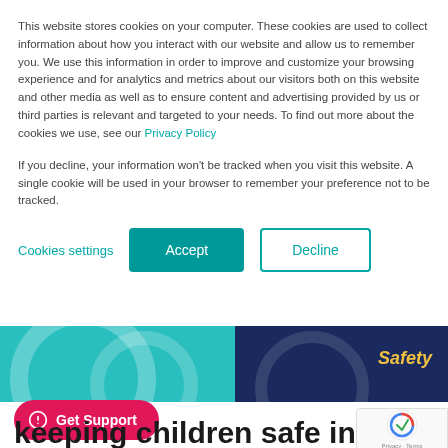This website stores cookies on your computer. These cookies are used to collect information about how you interact with our website and allow us to remember you. We use this information in order to improve and customize your browsing experience and for analytics and metrics about our visitors both on this website and other media as well as to ensure content and advertising provided by us or third parties is relevant and targeted to your needs. To find out more about the cookies we use, see our Privacy Policy
If you decline, your information won't be tracked when you visit this website. A single cookie will be used in your browser to remember your preference not to be tracked.
[Figure (screenshot): Cookie consent banner with Cookies settings link, Accept button (teal), and Decline button (teal outline) over a website about keeping children safe]
keeping children safe in